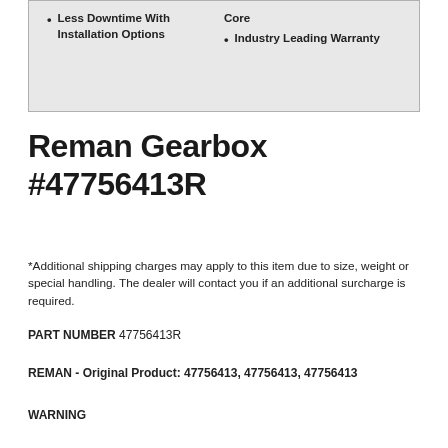Less Downtime With Installation Options
Core
Industry Leading Warranty
Reman Gearbox #47756413R
*Additional shipping charges may apply to this item due to size, weight or special handling. The dealer will contact you if an additional surcharge is required.
PART NUMBER 47756413R
REMAN - Original Product: 47756413, 47756413, 47756413
WARNING